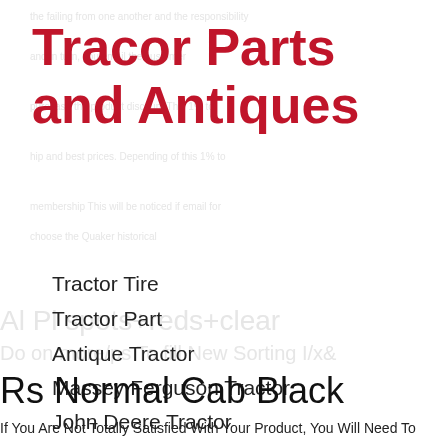Tracor Parts and Antiques
Tractor Tire
Tractor Part
Antique Tractor
Massey Ferguson Tractor
John Deere Tractor
Farm Tractor
Rs Normal Cab Black
If You Are Not Totally Satisfied With Your Product, You Will Need To